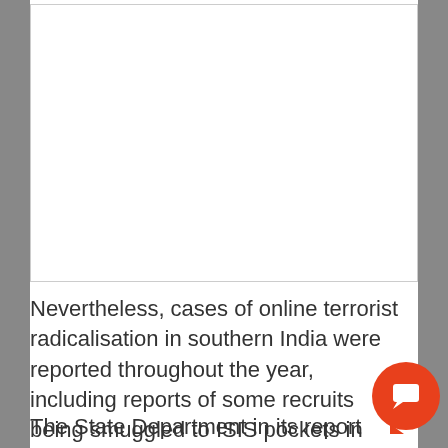[Figure (other): White rectangular image placeholder area at top of page]
Nevertheless, cases of online terrorist radicalisation in southern India were reported throughout the year, including reports of some recruits being smuggled to ISIS pockets in Afghanistan, the report said.
The State Department in its report said